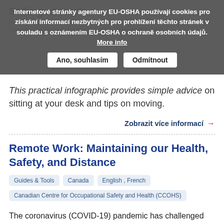Sitting at work
Visual resources | Canada | English
Canadian Centre for Occupational Safety and Health (CCOHS)
Internetové stránky agentury EU-OSHA používají cookies pro získání informací nezbytných pro prohlížení těchto stránek v souladu s oznámením EU-OSHA o ochraně osobních údajů. More info
Ano, souhlasím | Odmítnout
This practical infographic provides simple advice on sitting at your desk and tips on moving.
Zobrazit více informací →
Remote Work: Maintaining our Health, Safety, and Distance
Guides & Tools | Canada | English , French
Canadian Centre for Occupational Safety and Health (CCOHS)
The coronavirus (COVID-19) pandemic has challenged employers to equip their workers with the tools they need in order to do their jobs safely